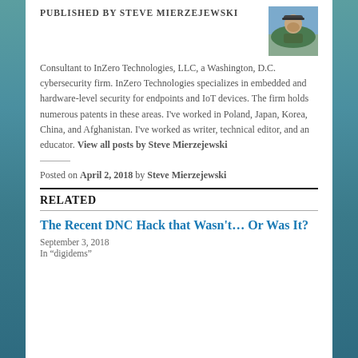PUBLISHED BY STEVE MIERZEJEWSKI
[Figure (photo): Headshot photo of Steve Mierzejewski, a man wearing a cap outdoors]
Consultant to InZero Technologies, LLC, a Washington, D.C. cybersecurity firm. InZero Technologies specializes in embedded and hardware-level security for endpoints and IoT devices. The firm holds numerous patents in these areas. I've worked in Poland, Japan, Korea, China, and Afghanistan. I've worked as writer, technical editor, and an educator. View all posts by Steve Mierzejewski
Posted on April 2, 2018 by Steve Mierzejewski
RELATED
The Recent DNC Hack that Wasn't… Or Was It?
September 3, 2018
In "digidems"